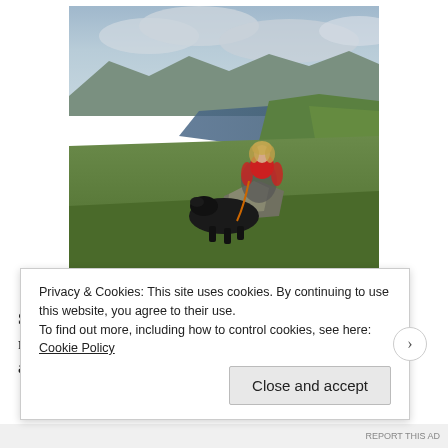[Figure (photo): Woman with curly hair wearing red top sitting on a hillside with a black dog on an orange lead. Scenic view behind showing a lake and green hills under cloudy sky. Location: Bonscale Pike.]
Bad Hair Day 🤣 Bonscale Pike.
September. Managed to add a few more Wainwright's to my very short list, using the van as our base. New additions are
Privacy & Cookies: This site uses cookies. By continuing to use this website, you agree to their use.
To find out more, including how to control cookies, see here: Cookie Policy
Close and accept